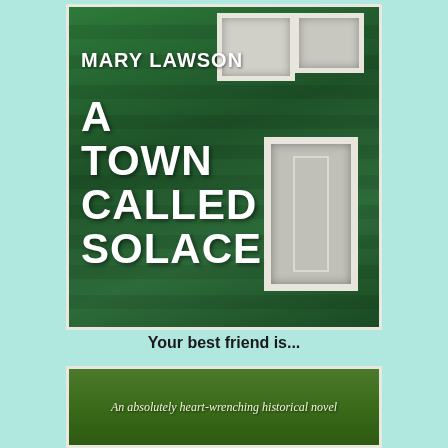[Figure (illustration): Book cover of 'A Town Called Solace' by Mary Lawson. Features a green wooden house exterior with white-framed windows. Large white bold text displays the author name 'MARY LAWSON' and title 'A TOWN CALLED SOLACE'.]
Your best friend is...
[Figure (illustration): Bottom portion of a book cover showing green foliage background with italic text reading 'An absolutely heart-wrenching historical novel']